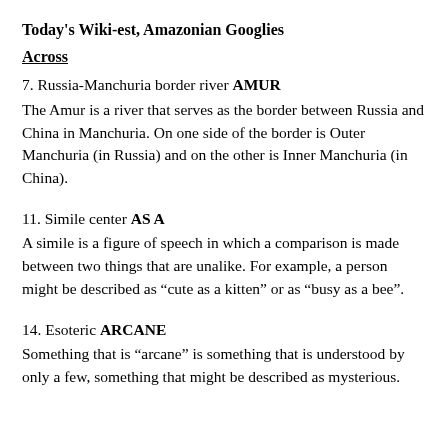Today's Wiki-est, Amazonian Googlies
Across
7. Russia-Manchuria border river AMUR
The Amur is a river that serves as the border between Russia and China in Manchuria. On one side of the border is Outer Manchuria (in Russia) and on the other is Inner Manchuria (in China).
11. Simile center AS A
A simile is a figure of speech in which a comparison is made between two things that are unalike. For example, a person might be described as “cute as a kitten” or as “busy as a bee”.
14. Esoteric ARCANE
Something that is “arcane” is something that is understood by only a few, something that might be described as mysterious.